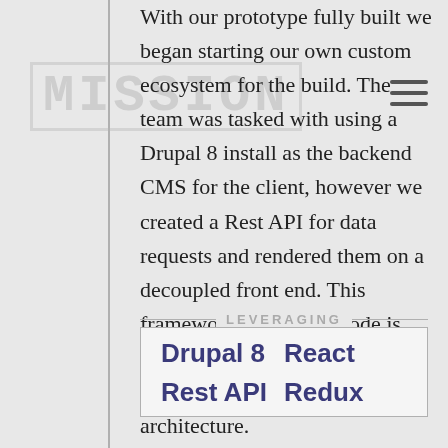With our prototype fully built we began starting our own custom ecosystem for the build. The team was tasked with using a Drupal 8 install as the backend CMS for the client, however we created a Rest API for data requests and rendered them on a decoupled front end. This framework leveraged Node.js, React, Redux for managing states and a webpack architecture.
LEVERAGING
Drupal 8
React
Rest API
Redux